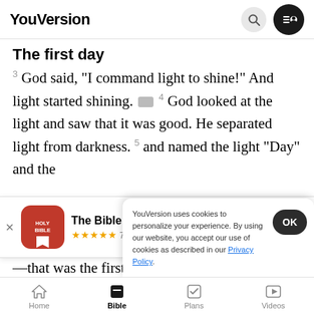YouVersion
The first day
3 God said, “I command light to shine!” And light started shining. 4 God looked at the light and saw that it was good. He separated light from darkness. 5 and named the light “Day” and the
[Figure (screenshot): The Bible App download banner with Holy Bible icon, 5-star rating 7.9M reviews, and Download button]
—that was the first day.
The second day
6 God said: I command a dome to separate the
YouVersion uses cookies to personalize your experience. By using our website, you accept our use of cookies as described in our Privacy Policy.
Home  Bible  Plans  Videos